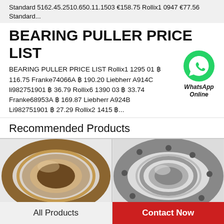Standard 5162.45.2510.650.11.1503 €158.75 Rollix1 0947 €77.56 Standard...
BEARING PULLER PRICE LIST
BEARING PULLER PRICE LIST Rollix1 1295 01 ฿ 116.75 Franke74066A ฿ 190.20 Liebherr A914C li982751901 ฿ 36.79 Rollix6 1390 03 ฿ 33.74 Franke68953A ฿ 169.87 Liebherr A924B Li982751901 ฿ 27.29 Rollix2 1415 ฿...
[Figure (logo): WhatsApp Online green circle icon with phone handset, label 'WhatsApp Online']
Recommended Products
[Figure (photo): Large slewing ring bearing, bronze/brown colored, circular ring shape, on white background]
[Figure (photo): Slewing ring bearing, silver/grey colored, with bolt holes, on white background]
All Products
Contact Now